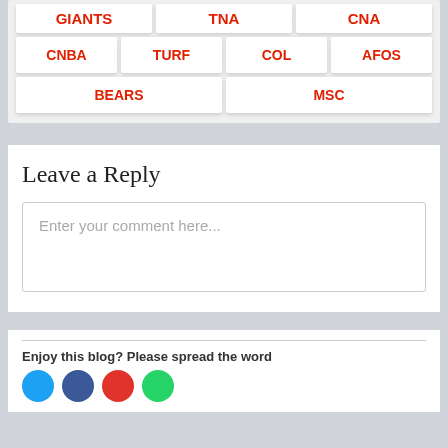[Figure (other): Grid of sport/category buttons: top partial row (GIANTS, TNA, CNA cut off), second row (CNBA, TURF, COL, AFOS), third row (BEARS, MSC)]
Leave a Reply
Enter your comment here...
Enjoy this blog? Please spread the word